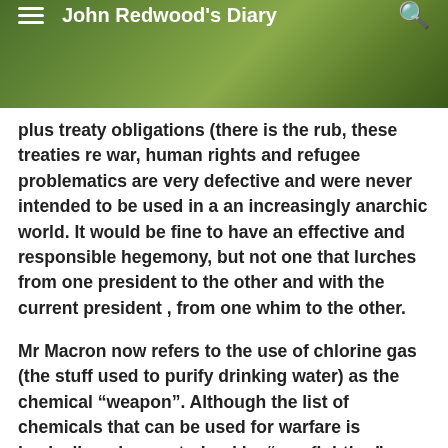John Redwood's Diary
plus treaty obligations (there is the rub, these treaties re war, human rights and refugee problematics are very defective and were never intended to be used in a an increasingly anarchic world. It would be fine to have an effective and responsible hegemony, but not one that lurches from one president to the other and with the current president , from one whim to the other.
Mr Macron now refers to the use of chlorine gas (the stuff used to purify drinking water) as the chemical “weapon”. Although the list of chemicals that can be used for warfare is basically only constrained by “war fighting” characteristics and potential for collateral damage only a few are considered not fit for production unless one is part of the family of WMD practitioners. ME case, gas is usually used to drive opponents